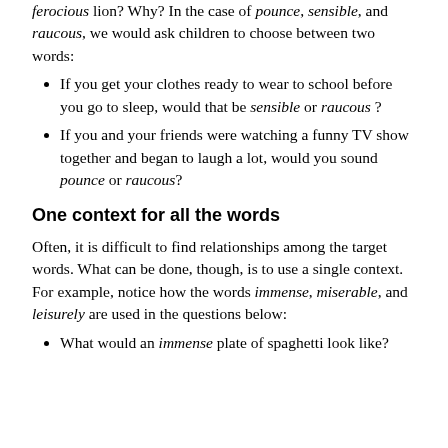Would you prefer to budge a sleeping lamb or a ferocious lion? Why? In the case of pounce, sensible, and raucous, we would ask children to choose between two words:
If you get your clothes ready to wear to school before you go to sleep, would that be sensible or raucous?
If you and your friends were watching a funny TV show together and began to laugh a lot, would you sound pounce or raucous?
One context for all the words
Often, it is difficult to find relationships among the target words. What can be done, though, is to use a single context. For example, notice how the words immense, miserable, and leisurely are used in the questions below:
What would an immense plate of spaghetti look like?